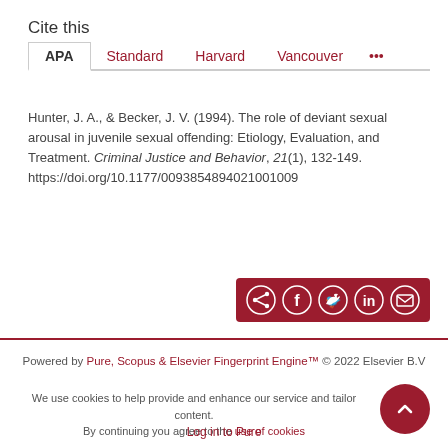Cite this
APA | Standard | Harvard | Vancouver | ...
Hunter, J. A., & Becker, J. V. (1994). The role of deviant sexual arousal in juvenile sexual offending: Etiology, Evaluation, and Treatment. Criminal Justice and Behavior, 21(1), 132-149. https://doi.org/10.1177/0093854894021001009
[Figure (other): Share bar with social media icons: share, Facebook, Twitter, LinkedIn, email on dark red background]
Powered by Pure, Scopus & Elsevier Fingerprint Engine™ © 2022 Elsevier B.V
We use cookies to help provide and enhance our service and tailor content. By continuing you agree to the use of cookies
Log in to Pure